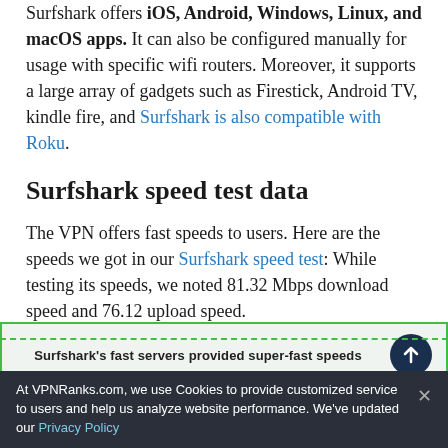Surfshark offers iOS, Android, Windows, Linux, and macOS apps. It can also be configured manually for usage with specific wifi routers. Moreover, it supports a large array of gadgets such as Firestick, Android TV, kindle fire, and Surfshark is also compatible with Roku.
Surfshark speed test data
The VPN offers fast speeds to users. Here are the speeds we got in our Surfshark speed test: While testing its speeds, we noted 81.32 Mbps download speed and 76.12 upload speed.
Surfshark's fast servers provided super-fast speeds
At VPNRanks.com, we use Cookies to provide customized service to users and help us analyze website performance. We've updated our Privacy Policy